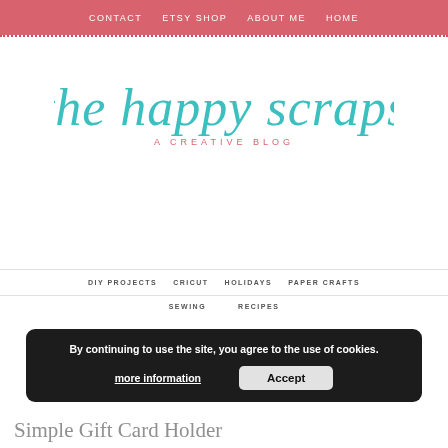CONTACT  ETSY SHOP  ABOUT ME  HOME
[Figure (logo): The Happy Scraps - A Creative Blog logo in teal handwritten script with pink subtitle]
DIY PROJECTS  CRICUT  HOLIDAYS  PAPER CRAFTS
SEWING  RECIPES
By continuing to use the site, you agree to the use of cookies. more information  Accept
Simple Gift Card Holder